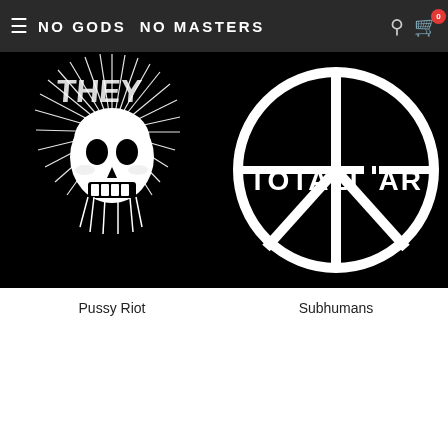NO GODS NO MASTERS
[Figure (illustration): Black and white punk skull with mohawk spikes illustration on black background]
Pussy Riot
[Figure (illustration): Totalitär band logo with peace sign circle design in white on black background]
Subhumans